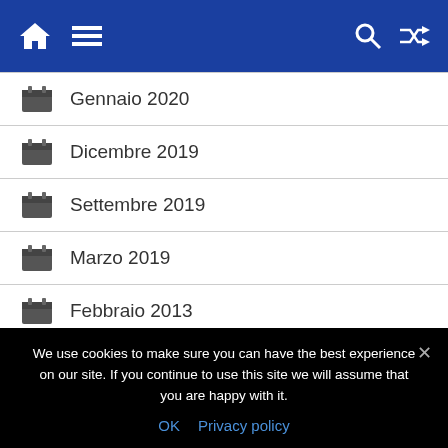Navigation header with home, menu, search, and shuffle icons
Gennaio 2020
Dicembre 2019
Settembre 2019
Marzo 2019
Febbraio 2013
CATEGORIE
We use cookies to make sure you can have the best experience on our site. If you continue to use this site we will assume that you are happy with it.
OK  Privacy policy